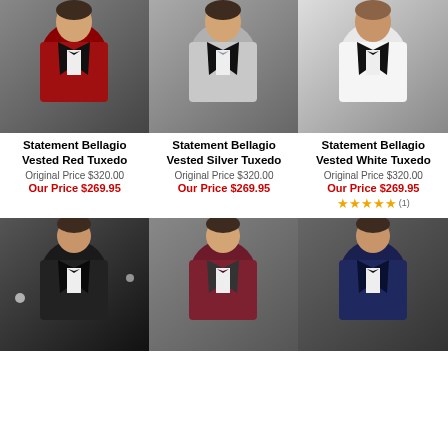[Figure (photo): Man wearing Statement Bellagio Vested Red Tuxedo with black lapels and bow tie]
[Figure (photo): Man wearing Statement Bellagio Vested Silver Tuxedo with black lapels and bow tie]
[Figure (photo): Man wearing Statement Bellagio Vested White Tuxedo with black lapels and bow tie]
Statement Bellagio Vested Red Tuxedo
Original Price $320.00
Our Price $269.95
Statement Bellagio Vested Silver Tuxedo
Original Price $320.00
Our Price $269.95
Statement Bellagio Vested White Tuxedo
Original Price $320.00
Our Price $269.95
★★★★★ (1)
[Figure (photo): Man wearing black tuxedo with bow tie]
[Figure (photo): Man wearing burgundy/dark red tuxedo with bow tie]
[Figure (photo): Man wearing navy blue tuxedo with bow tie]